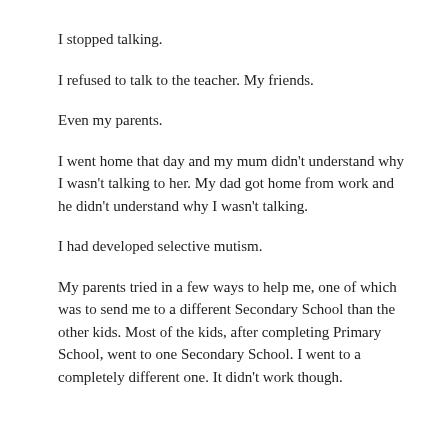I stopped talking.
I refused to talk to the teacher. My friends.
Even my parents.
I went home that day and my mum didn't understand why I wasn't talking to her. My dad got home from work and he didn't understand why I wasn't talking.
I had developed selective mutism.
My parents tried in a few ways to help me, one of which was to send me to a different Secondary School than the other kids. Most of the kids, after completing Primary School, went to one Secondary School. I went to a completely different one. It didn't work though.